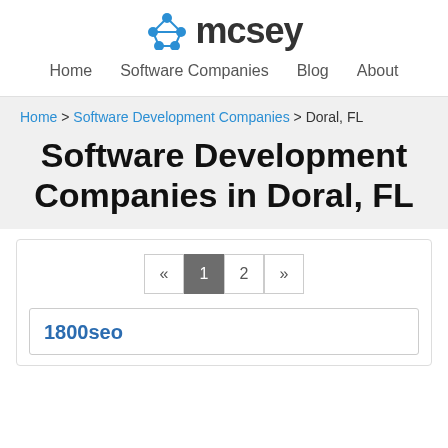[Figure (logo): mcsey logo with blue hexagonal/connected-dots icon and dark grey 'mcsey' text]
Home   Software Companies   Blog   About
Home > Software Development Companies > Doral, FL
Software Development Companies in Doral, FL
« 1 2 »
1800seo